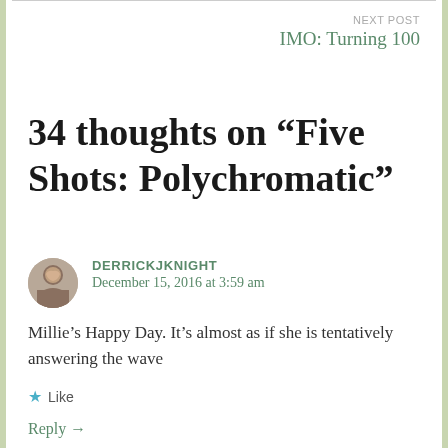NEXT POST
IMO: Turning 100
34 thoughts on “Five Shots: Polychromatic”
DERRICKJKNIGHT
December 15, 2016 at 3:59 am
Millie’s Happy Day. It’s almost as if she is tentatively answering the wave
★ Like
Reply →